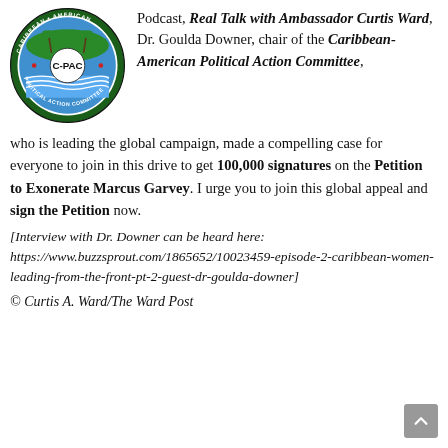[Figure (logo): C-PAC Caribbean-American Political Action Committee circular logo with palm trees, water waves, and 'C-PAC' text in center on green and blue background]
Podcast, Real Talk with Ambassador Curtis Ward, Dr. Goulda Downer, chair of the Caribbean-American Political Action Committee, who is leading the global campaign, made a compelling case for everyone to join in this drive to get 100,000 signatures on the Petition to Exonerate Marcus Garvey. I urge you to join this global appeal and sign the Petition now.
[Interview with Dr. Downer can be heard here: https://www.buzzsprout.com/1865652/10023459-episode-2-caribbean-women-leading-from-the-front-pt-2-guest-dr-goulda-downer]
© Curtis A. Ward/The Ward Post